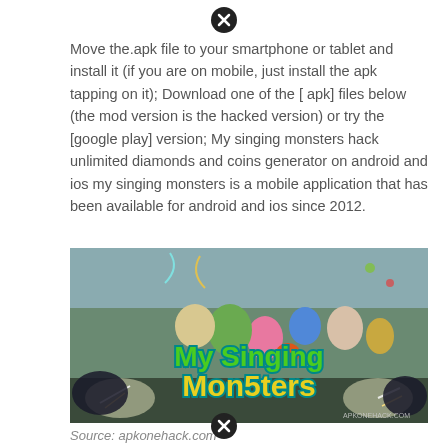[Figure (other): Close/X button icon at top center]
Move the.apk file to your smartphone or tablet and install it (if you are on mobile, just install the apk tapping on it); Download one of the [ apk] files below (the mod version is the hacked version) or try the [google play] version; My singing monsters hack unlimited diamonds and coins generator on android and ios my singing monsters is a mobile application that has been available for android and ios since 2012.
[Figure (photo): My Singing Monsters game promotional image showing colorful cartoon monster characters with the game logo 'My Singing Monsters' in large yellow/green text with a teal outline. Watermark reads apkonehack.com]
Source: apkonehack.com
[Figure (other): Close/X button icon at bottom center]